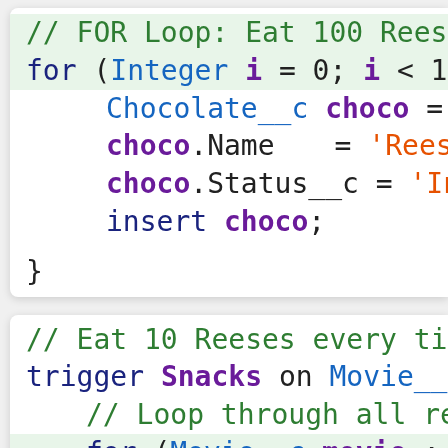[Figure (screenshot): Code editor screenshot showing two Apex/Java-style code blocks. First block shows a FOR loop eating 100 Reeses with Chocolate__c object creation. Second block shows a trigger named Snacks on Movie__c with a nested for loop.]